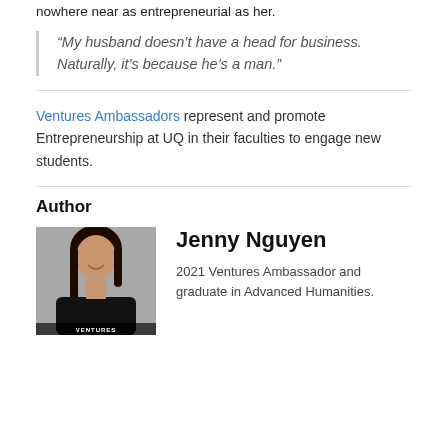nowhere near as entrepreneurial as her.
“My husband doesn’t have a head for business. Naturally, it’s because he’s a man.”
Ventures Ambassadors represent and promote Entrepreneurship at UQ in their faculties to engage new students.
Author
[Figure (photo): Photo of Jenny Nguyen wearing a black Ventures t-shirt, smiling, against a grey background.]
Jenny Nguyen
2021 Ventures Ambassador and graduate in Advanced Humanities.